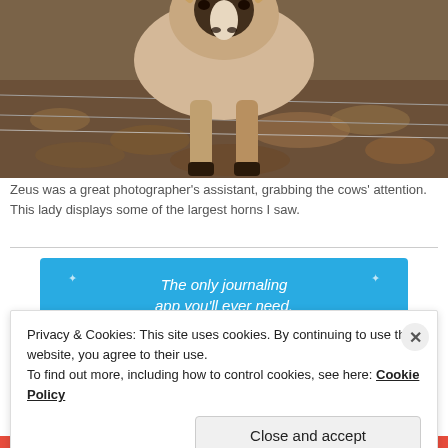[Figure (photo): A cow (light tan/white with black markings on face and legs) standing near a wire fence in a dry, leaf-covered landscape, looking toward the camera.]
Zeus was a great photographer's assistant, grabbing the cows' attention. This lady displays some of the largest horns I saw.
[Figure (infographic): Blue advertisement banner reading 'The only journaling app you'll ever need.' with a dark blue 'Get the app' button. Small star/sparkle decorations around the text.]
Privacy & Cookies: This site uses cookies. By continuing to use this website, you agree to their use.
To find out more, including how to control cookies, see here: Cookie Policy
Close and accept